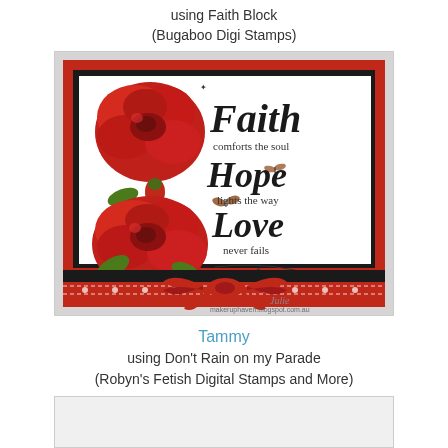using Faith Block
(Bugaboo Digi Stamps)
[Figure (photo): Handmade greeting card with red roses and Faith, Hope, Love text stamp on white background, mounted on red and black cardstock layers, decorated with a red polka dot ribbon bow at the bottom. Watermark reads makeruphaven.blogspot.com.au]
Tammy
using Don't Rain on my Parade
(Robyn's Fetish Digital Stamps and More)
[Figure (photo): Partially visible second card at the bottom of the page]